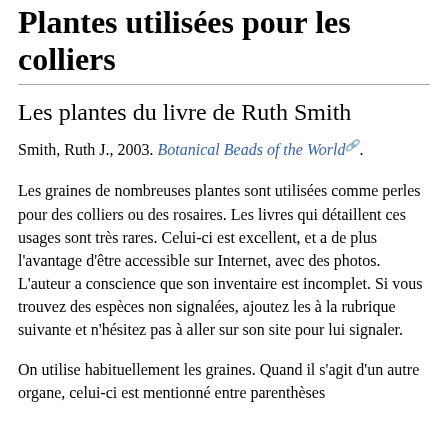Plantes utilisées pour les colliers
Les plantes du livre de Ruth Smith
Smith, Ruth J., 2003. Botanical Beads of the World.
Les graines de nombreuses plantes sont utilisées comme perles pour des colliers ou des rosaires. Les livres qui détaillent ces usages sont très rares. Celui-ci est excellent, et a de plus l'avantage d'être accessible sur Internet, avec des photos. L'auteur a conscience que son inventaire est incomplet. Si vous trouvez des espèces non signalées, ajoutez les à la rubrique suivante et n'hésitez pas à aller sur son site pour lui signaler.
On utilise habituellement les graines. Quand il s'agit d'un autre organe, celui-ci est mentionné entre parenthèses